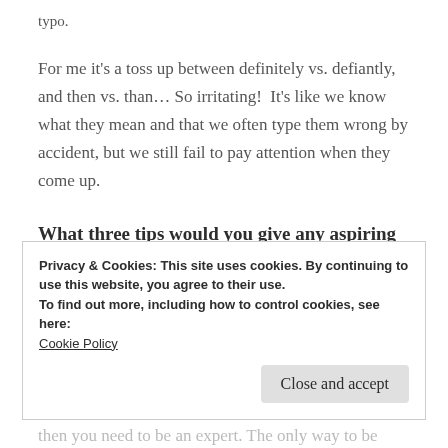typo.
For me it’s a toss up between definitely vs. defiantly, and then vs. than… So irritating!  It’s like we know what they mean and that we often type them wrong by accident, but we still fail to pay attention when they come up.
What three tips would you give any aspiring writer?
If you think your novel has been edited and revised enough, you’re wrong. Do it again.
Privacy & Cookies: This site uses cookies. By continuing to use this website, you agree to their use.
To find out more, including how to control cookies, see here:
Cookie Policy
Close and accept
then you need to be an expert. The only way to be